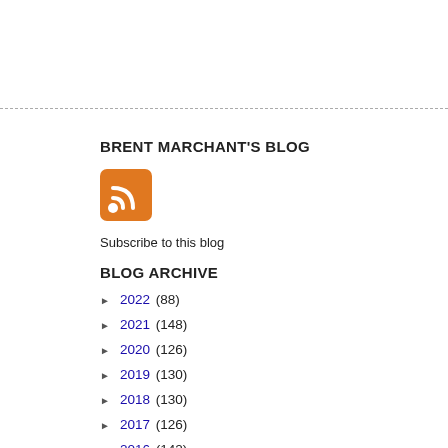BRENT MARCHANT'S BLOG
[Figure (logo): RSS feed icon - orange square with white RSS signal waves]
Subscribe to this blog
BLOG ARCHIVE
► 2022 (88)
► 2021 (148)
► 2020 (126)
► 2019 (130)
► 2018 (130)
► 2017 (126)
► 2016 (142)
▼ 2015 (100)
► December (12)
► November (7)